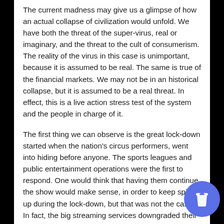The current madness may give us a glimpse of how an actual collapse of civilization would unfold. We have both the threat of the super-virus, real or imaginary, and the threat to the cult of consumerism. The reality of the virus in this case is unimportant, because it is assumed to be real. The same is true of the financial markets. We may not be in an historical collapse, but it is assumed to be a real threat. In effect, this is a live action stress test of the system and the people in charge of it.
The first thing we can observe is the great lock-down started when the nation's circus performers, went into hiding before anyone. The sports leagues and public entertainment operations were the first to respond. One would think that having them continue the show would make sense, in order to keep spirits up during the lock-down, but that was not the case. In fact, the big streaming services downgraded their service quality at the start of the lock down.